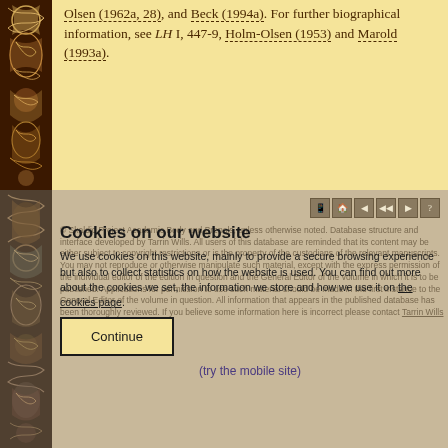Olsen (1962a, 28), and Beck (1994a). For further biographical information, see LH I, 447-9, Holm-Olsen (1953) and Marold (1993a).
© Skaldic Project Academic Body and Brepols, unless otherwise noted. Database structure and interface developed by Tarrin Wills. All users of this database are reminded that its content may be either subject to copyright restrictions or is the property of the custodians of the relevant manuscripts. You may not reproduce or otherwise manipulate such material, except with the express permission of the individual editor of the edition in question and the General Editor of the volume in which it is to be published. Applications for permission to use such material should be made in the first instance to the General Editor of the volume in question. All information that appears in the published database has been thoroughly reviewed. If you believe some information here is incorrect please contact Tarrin Wills with full details.
Cookies on our website
We use cookies on this website, mainly to provide a secure browsing experience but also to collect statistics on how the website is used. You can find out more about the cookies we set, the information we store and how we use it on the cookies page.
Continue
(try the mobile site)